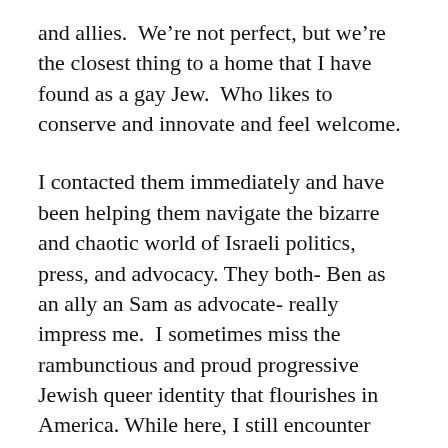and allies.  We're not perfect, but we're the closest thing to a home that I have found as a gay Jew.  Who likes to conserve and innovate and feel welcome.
I contacted them immediately and have been helping them navigate the bizarre and chaotic world of Israeli politics, press, and advocacy. They both- Ben as an ally an Sam as advocate- really impress me.  I sometimes miss the rambunctious and proud progressive Jewish queer identity that flourishes in America. While here, I still encounter (even among some friends in my movement) a sense of deep unresolved sexual shame and conservatism.